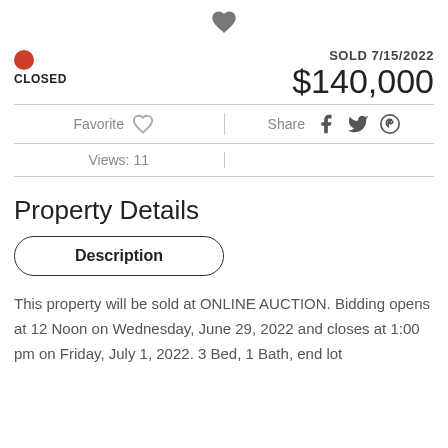[Figure (illustration): Heart icon (filled, dark gray) centered at top of page]
SOLD 7/15/2022
$140,000
CLOSED
Favorite  Share
Views: 11
Property Details
Description
This property will be sold at ONLINE AUCTION. Bidding opens at 12 Noon on Wednesday, June 29, 2022 and closes at 1:00 pm on Friday, July 1, 2022. 3 Bed, 1 Bath, end lot